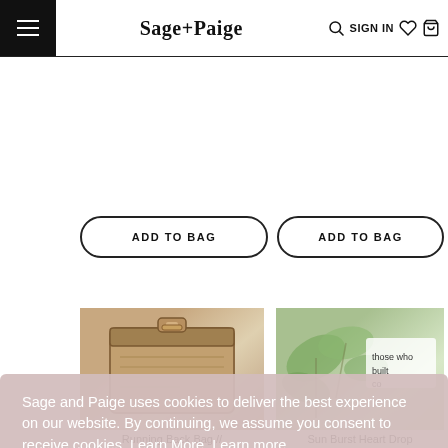Sage+Paige — navigation bar with hamburger menu, logo, search, SIGN IN, wishlist, cart
Flatter Me Earrings
$14.95
Opal Cascade Ear Drops
$13.99
ADD TO BAG
ADD TO BAG
[Figure (photo): Product photo of Running Back Bag — wooden/marble textured clutch with gold clasp]
[Figure (photo): Product photo of Sun Burst Heart Drop — green leaves with decorative item and text 'those who built co']
Sage and Paige uses cookies to deliver the best experience on our website. By continuing, we assume you consent to receive cookies. Learn More  Learn more
CONTINUE
Running Back Bag //
Sun Burst Heart Drop